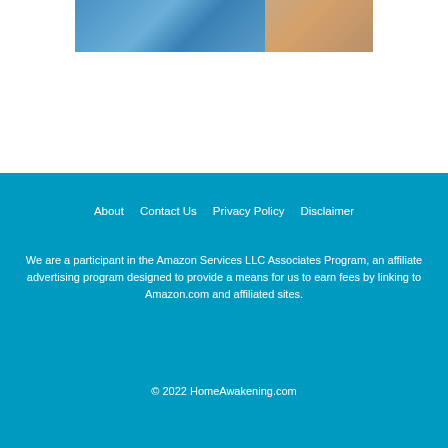[Figure (photo): Partial image showing blue and beige/brown tones at the top of the page, appears to be a cropped photo]
About   Contact Us   Privacy Policy   Disclaimer
We are a participant in the Amazon Services LLC Associates Program, an affiliate advertising program designed to provide a means for us to earn fees by linking to Amazon.com and affiliated sites.
© 2022 HomeAwakening.com